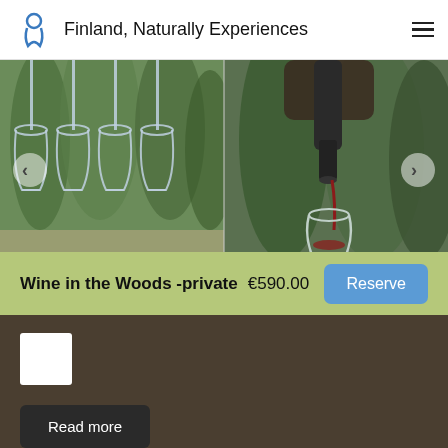Finland, Naturally Experiences
[Figure (photo): Left: multiple wine glasses hanging upside down outdoors with forest background. Right: person pouring red wine from a bottle into a glass outdoors in forest setting.]
Wine in the Woods -private  €590.00
Reserve
[Figure (other): White square thumbnail placeholder on dark brown background]
Read more